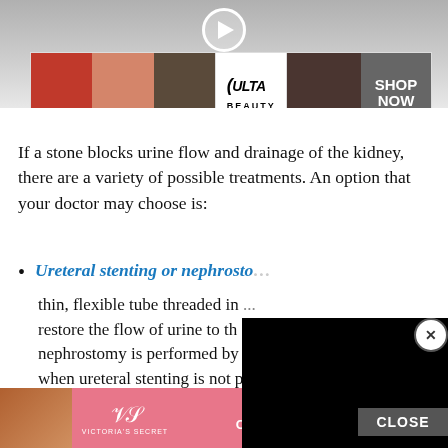[Figure (screenshot): Video player with beauty/makeup ad from ULTA with SHOP NOW button, overlaid on a background scene]
If a stone blocks urine flow and drainage of the kidney, there are a variety of possible treatments. An option that your doctor may choose is:
Ureteral stenting or nephrostomy ... thin, flexible tube threaded in... restore the flow of urine to th... nephrostomy is performed by... when ureteral stenting is not possible or desirable. A tube is placed through the skin on the patient's back into the kidney and the tube is connected to an external drainage bag... scopy.
[Figure (screenshot): Black video overlay panel obscuring right portion of list item text]
[Figure (screenshot): Victoria's Secret SHOP THE COLLECTION advertisement banner at bottom]